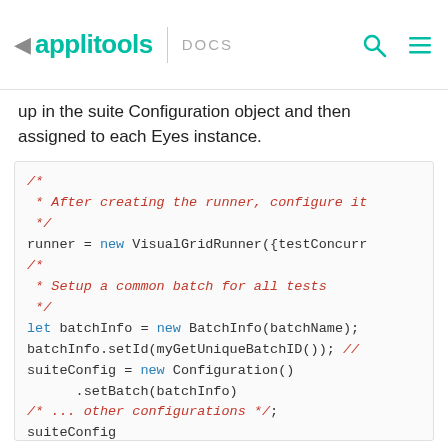applitools DOCS
up in the suite Configuration object and then assigned to each Eyes instance.
[Figure (screenshot): Code block showing JavaScript code: comment about configuring the runner, runner = new VisualGridRunner({testConcurr..., comment about setting up a common batch for all tests, let batchInfo = new BatchInfo(batchName);, batchInfo.setId(myGetUniqueBatchID()); //, suiteConfig = new Configuration() .setBatch(batchInfo), /* ... other configurations */;, suiteConfig .setDontCloseBatches(true);, comment about assigning the configuration to all newly created Eyes instances]